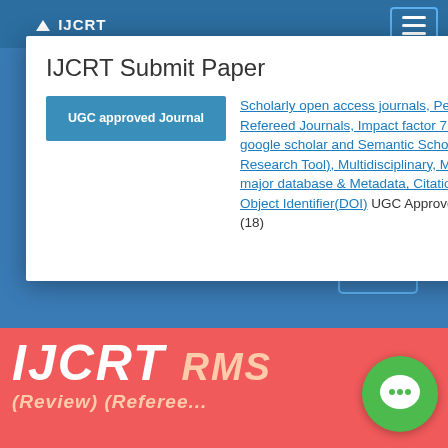IJCRT
IJCRT Submit Paper
[Figure (screenshot): UGC approved Journal button (teal/blue background, white text)]
Scholarly open access journals, Peer-reviewed, and Refereed Journals, Impact factor 7.97 (Calculate by google scholar and Semantic Scholar | AI-Powered Research Tool), Multidisciplinary, Monthly, Indexing in all major database & Metadata, Citation Generator, Digital Object Identifier(DOI) UGC Approved Journal No: 49023 (18)
WhatsApp Contact Click Here
Contact Us Click Here
IJCRT RMS